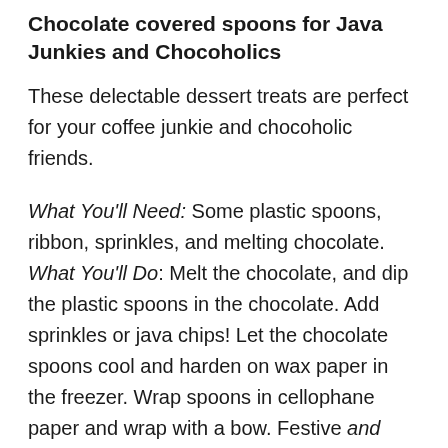Chocolate covered spoons for Java Junkies and Chocoholics
These delectable dessert treats are perfect for your coffee junkie and chocoholic friends.
What You'll Need: Some plastic spoons, ribbon, sprinkles, and melting chocolate. What You'll Do: Melt the chocolate, and dip the plastic spoons in the chocolate. Add sprinkles or java chips! Let the chocolate spoons cool and harden on wax paper in the freezer. Wrap spoons in cellophane paper and wrap with a bow. Festive and delicious!